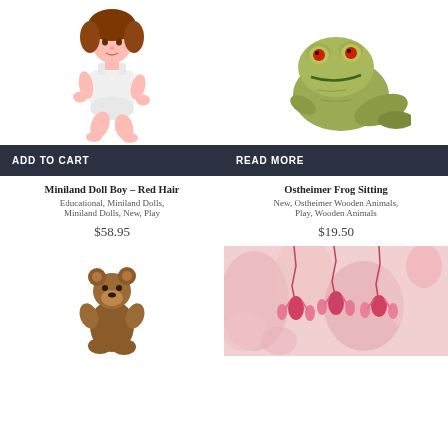[Figure (photo): Baby doll with brown hair sitting, wearing white undergarment]
ADD TO CART
Miniland Doll Boy – Red Hair
Educational, Miniland Dolls, Miniland Dolls, New, Play
$58.95
[Figure (photo): Wooden carved frog sitting, olive green color with red eyes]
READ MORE
Ostheimer Frog Sitting
New, Ostheimer Wooden Animals, Play, Wooden Animals
$19.50
[Figure (photo): Small wooden bear figurine, brown color, sitting/standing]
[Figure (photo): Pink flowers, blurred floral background in pink tones]